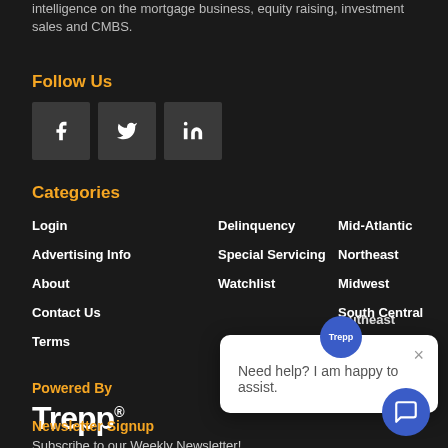intelligence on the mortgage business, equity raising, investment sales and CMBS.
Follow Us
[Figure (illustration): Social media icons: Facebook, Twitter, LinkedIn in dark grey boxes]
Categories
Login
Advertising Info
About
Contact Us
Terms
Delinquency
Special Servicing
Watchlist
Mid-Atlantic
Northeast
Midwest
South Central
[Figure (screenshot): Chat popup overlay with Trepp avatar, close button, and text: Need help? I am happy to assist.]
Powered By
Trepp®
Newsletter Signup
Subscribe to our Weekly Newsletter!